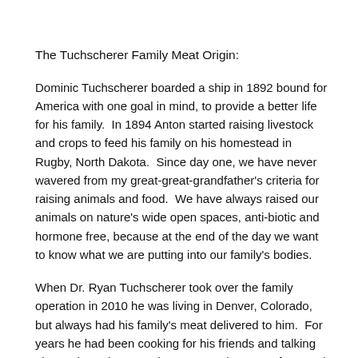The Tuchscherer Family Meat Origin:
Dominic Tuchscherer boarded a ship in 1892 bound for America with one goal in mind, to provide a better life for his family.  In 1894 Anton started raising livestock and crops to feed his family on his homestead in Rugby, North Dakota.  Since day one, we have never wavered from my great-great-grandfather's criteria for raising animals and food.  We have always raised our animals on nature's wide open spaces, anti-biotic and hormone free, because at the end of the day we want to know what we are putting into our family's bodies.
When Dr. Ryan Tuchscherer took over the family operation in 2010 he was living in Denver, Colorado, but always had his family's meat delivered to him.  For years he had been cooking for his friends and talking about where the meat they were eating came from and how it was raised.  He was amazed at how many people had no idea where a steak came